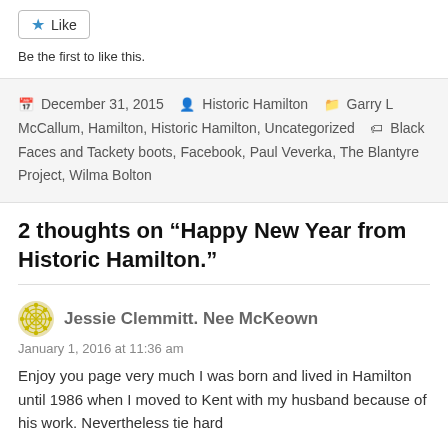[Figure (other): Like button widget with star icon]
Be the first to like this.
December 31, 2015  Historic Hamilton  Garry L McCallum, Hamilton, Historic Hamilton, Uncategorized  Black Faces and Tackety boots, Facebook, Paul Veverka, The Blantyre Project, Wilma Bolton
2 thoughts on “Happy New Year from Historic Hamilton.”
Jessie Clemmitt. Nee McKeown
January 1, 2016 at 11:36 am
Enjoy you page very much I was born and lived in Hamilton until 1986 when I moved to Kent with my husband because of his work. Nevertheless tie hard...